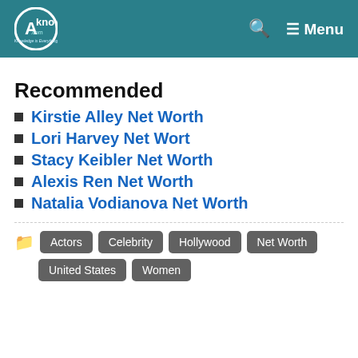AKnowledge.com — Menu
Recommended
Kirstie Alley Net Worth
Lori Harvey Net Wort
Stacy Keibler Net Worth
Alexis Ren Net Worth
Natalia Vodianova Net Worth
Actors  Celebrity  Hollywood  Net Worth  United States  Women